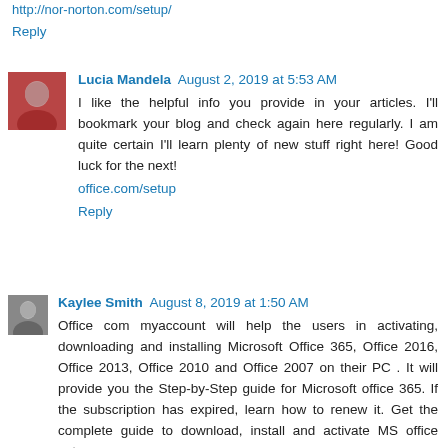http://nor-norton.com/setup/
Reply
Lucia Mandela  August 2, 2019 at 5:53 AM
I like the helpful info you provide in your articles. I'll bookmark your blog and check again here regularly. I am quite certain I'll learn plenty of new stuff right here! Good luck for the next!
office.com/setup
Reply
Kaylee Smith  August 8, 2019 at 1:50 AM
Office com myaccount will help the users in activating, downloading and installing Microsoft Office 365, Office 2016, Office 2013, Office 2010 and Office 2007 on their PC . It will provide you the Step-by-Step guide for Microsoft office 365. If the subscription has expired, learn how to renew it. Get the complete guide to download, install and activate MS office setup.